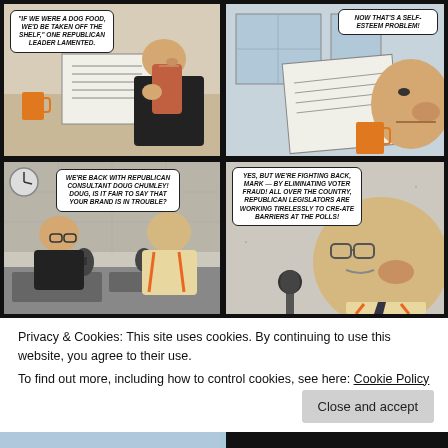[Figure (illustration): Four-panel comic strip. Panel 1 (top-left): Man at desk reading newspaper with coffee mug, speech bubble: 'IF WE WERE A DOG FOOD, WE'D BE TAKEN OFF THE SHELF,' ONE REPUBLICAN LEADER LAMENTED. Panel 2 (top-right): Close-up of man reading newspaper, speech bubble: NOW THAT'S A SELF-ESTEEM PROBLEM! Panel 3 (bottom-left): Two men at radio desk with microphones, speech bubble: WE'RE BACK WITH REPUBLICAN CONSULTANT DOUG CHUMLEY! DOUG, IS IT FAIR TO SAY THAT YOUR BRAND IS IN TROUBLE? Panel 4 (bottom-right): Close-up of older man with glasses at microphone, speech bubble: YES, BUT WE'RE FIGHTING BACK, MARK — BY ELIMINATING VOTER FRAUD! ALL OVER THE COUNTRY, REPUBLICAN LEGISLATORS ARE WORKING TIRELESSLY TO CREATE BARRIERS AT THE POLLS!]
Privacy & Cookies: This site uses cookies. By continuing to use this website, you agree to their use.
To find out more, including how to control cookies, see here: Cookie Policy
Close and accept